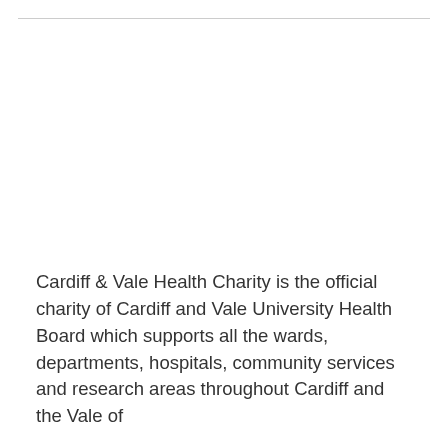Cardiff & Vale Health Charity is the official charity of Cardiff and Vale University Health Board which supports all the wards, departments, hospitals, community services and research areas throughout Cardiff and the Vale of